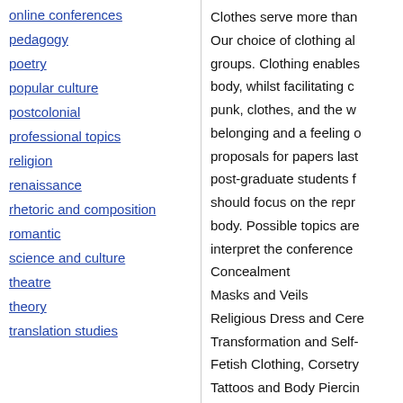online conferences
pedagogy
poetry
popular culture
postcolonial
professional topics
religion
renaissance
rhetoric and composition
romantic
science and culture
theatre
theory
translation studies
Clothes serve more than Our choice of clothing al groups. Clothing enables body, whilst facilitating c punk, clothes, and the w belonging and a feeling o proposals for papers last post-graduate students f should focus on the repr body. Possible topics are interpret the conference Concealment Masks and Veils Religious Dress and Cere Transformation and Self- Fetish Clothing, Corsetry Tattoos and Body Piercin Uniforms and Work Cloth and Gender Construction